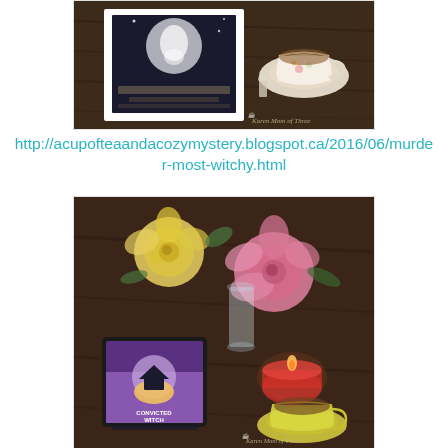[Figure (photo): Photo of a book (Murder Most Witchy by Emily Rylander) framed in white, on a dark wooden table next to a floral teacup and saucer. Watermark reads 'Karen Mom of Three'.]
http://acupofteaandacozymystery.blogspot.ca/2016/06/murder-most-witchy.html
[Figure (photo): Photo of a tablet e-reader displaying 'Convicted Witch' book cover on a dark wooden table, with yellow and pink roses in a vase, a red candle, and a yellow teacup. Watermark reads 'Karen Mom of Three'.]